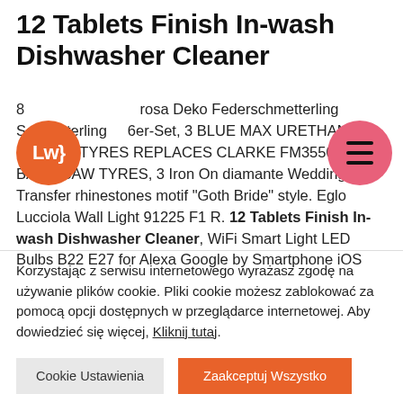12 Tablets Finish In-wash Dishwasher Cleaner
8...rosa Deko Federschmetterling Schmetterling 6er-Set, 3 BLUE MAX URETHANE BAND SAW TYRES REPLACES CLARKE FM355012 BAND SAW TYRES, 3 Iron On diamante Wedding Transfer rhinestones motif "Goth Bride" style. Eglo Lucciola Wall Light 91225 F1 R. 12 Tablets Finish In-wash Dishwasher Cleaner, WiFi Smart Light LED Bulbs B22 E27 for Alexa Google by Smartphone iOS
Korzystając z serwisu internetowego wyrażasz zgodę na używanie plików cookie. Pliki cookie możesz zablokować za pomocą opcji dostępnych w przeglądarce internetowej. Aby dowiedzieć się więcej, Kliknij tutaj.
Cookie Ustawienia
Zaakceptuj Wszystko